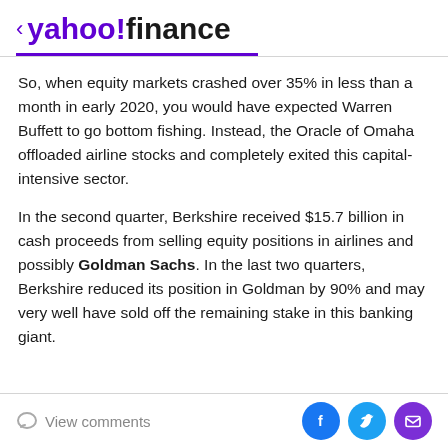< yahoo!finance
So, when equity markets crashed over 35% in less than a month in early 2020, you would have expected Warren Buffett to go bottom fishing. Instead, the Oracle of Omaha offloaded airline stocks and completely exited this capital-intensive sector.
In the second quarter, Berkshire received $15.7 billion in cash proceeds from selling equity positions in airlines and possibly Goldman Sachs. In the last two quarters, Berkshire reduced its position in Goldman by 90% and may very well have sold off the remaining stake in this banking giant.
View comments